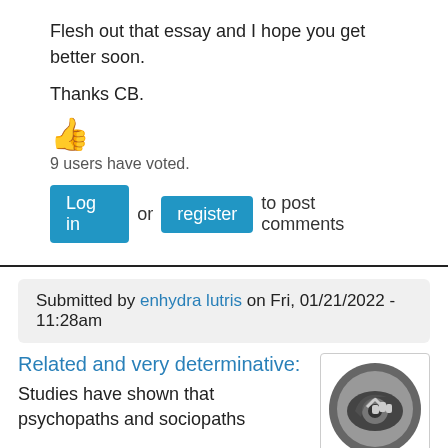Flesh out that essay and I hope you get better soon.
Thanks CB.
👍
9 users have voted.
Log in or register to post comments
Submitted by enhydra lutris on Fri, 01/21/2022 - 11:28am
Related and very determinative:
Studies have shown that psychopaths and sociopaths
[Figure (logo): Grey circular logo with an eye and a hand/arrow symbol]